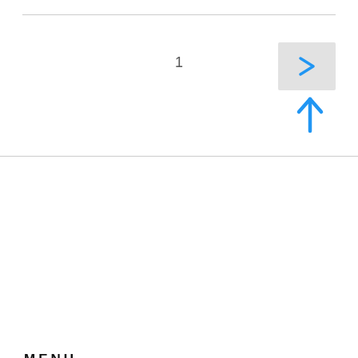1
[Figure (other): Right arrow navigation button on light gray background]
[Figure (other): Blue upward arrow icon]
MENU
Contact Us
[Figure (other): Search input box with dark search button containing blue magnifying glass icon]